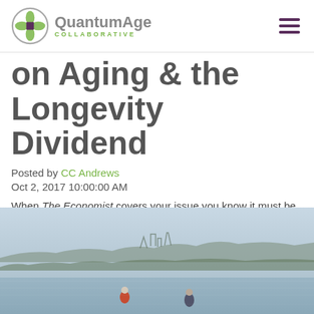QuantumAge COLLABORATIVE
on Aging & the Longevity Dividend
Posted by CC Andrews
Oct 2, 2017 10:00:00 AM
When The Economist covers your issue you know it must be a big one. It seems as though the rest of the world continues to catch onto the fact that there is a growing cohort of older adults around the globe, mainstream media is beginning to
[Figure (photo): Outdoor photo showing two elderly people sitting or standing near a waterfront with a hazy landscape and buildings/hills in the background]